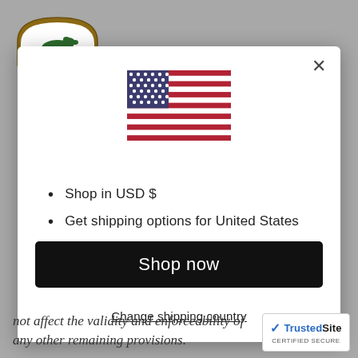[Figure (screenshot): US flag SVG icon displayed at center-top of modal dialog]
Shop in USD $
Get shipping options for United States
Shop now
Change shipping country
not affect the validity and enforceability of any other remaining provisions.
[Figure (logo): TrustedSite CERTIFIED SECURE badge with blue checkmark]